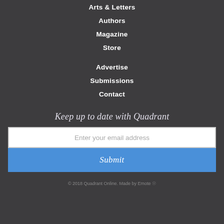Arts & Letters
Authors
Magazine
Store
Advertise
Submissions
Contact
Keep up to date with Quadrant
Enter your email address
Submit
© 2018 Quadrant Online. Made by Emote